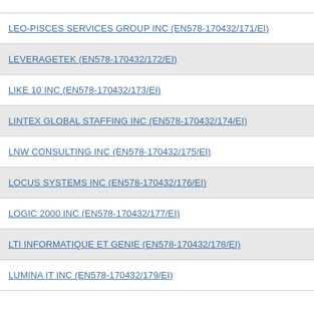LEO-PISCES SERVICES GROUP INC (EN578-170432/171/EI)
LEVERAGETEK (EN578-170432/172/EI)
LIKE 10 INC (EN578-170432/173/EI)
LINTEX GLOBAL STAFFING INC (EN578-170432/174/EI)
LNW CONSULTING INC (EN578-170432/175/EI)
LOCUS SYSTEMS INC (EN578-170432/176/EI)
LOGIC 2000 INC (EN578-170432/177/EI)
LTI INFORMATIQUE ET GENIE (EN578-170432/178/EI)
LUMINA IT INC (EN578-170432/179/EI)